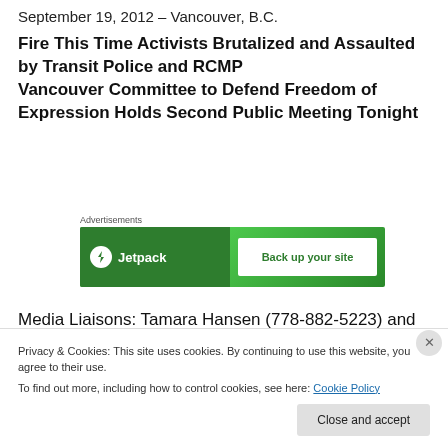September 19, 2012 – Vancouver, B.C.
Fire This Time Activists Brutalized and Assaulted by Transit Police and RCMP Vancouver Committee to Defend Freedom of Expression Holds Second Public Meeting Tonight
[Figure (other): Jetpack advertisement banner with lightning bolt logo and 'Back up your site' call to action on green background]
Media Liaisons: Tamara Hansen (778-882-5223) and Thomas Davies (778-889-7664)
Privacy & Cookies: This site uses cookies. By continuing to use this website, you agree to their use.
To find out more, including how to control cookies, see here: Cookie Policy